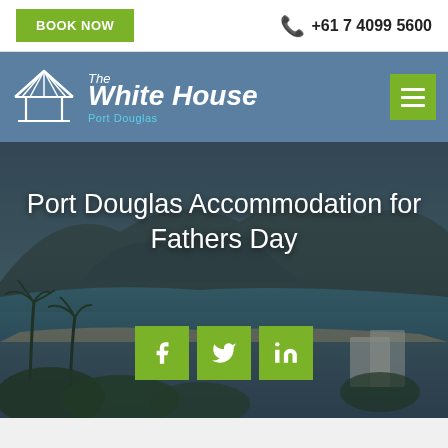BOOK NOW | +61 7 4099 5600
[Figure (logo): The White House Port Douglas logo with house icon and text]
Port Douglas Accommodation for Fathers Day
[Figure (photo): Aerial photo of Port Douglas coastline with mountains, beach, palm trees and resort buildings]
[Figure (infographic): Social media share buttons: Facebook, Twitter, LinkedIn]